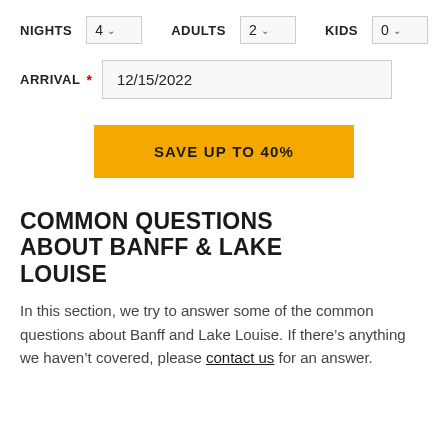NIGHTS 4 ∨   ADULTS 2 ∨   KIDS 0 ∨
ARRIVAL * 12/15/2022
SAVE UP TO 40%
COMMON QUESTIONS ABOUT BANFF & LAKE LOUISE
In this section, we try to answer some of the common questions about Banff and Lake Louise. If there's anything we haven't covered, please contact us for an answer.